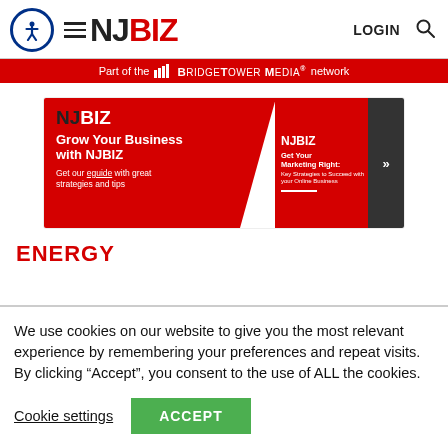NJBIZ — Part of the BridgeTower Media network
[Figure (illustration): NJBIZ advertisement banner: Grow Your Business with NJBIZ. Get our eguide with great strategies and tips.]
ENERGY
We use cookies on our website to give you the most relevant experience by remembering your preferences and repeat visits. By clicking “Accept”, you consent to the use of ALL the cookies.
Cookie settings | ACCEPT